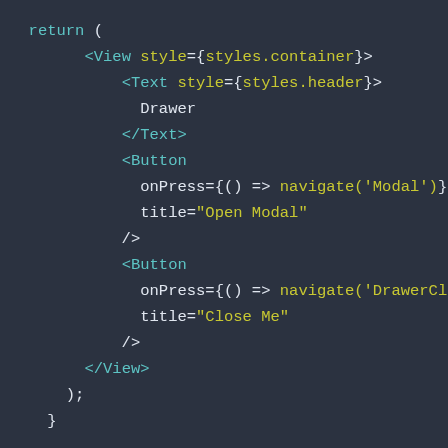[Figure (screenshot): Code editor screenshot showing JSX/React Native code with syntax highlighting on a dark background. The code shows a return statement containing View and Text components, with two Button components having onPress and title attributes.]